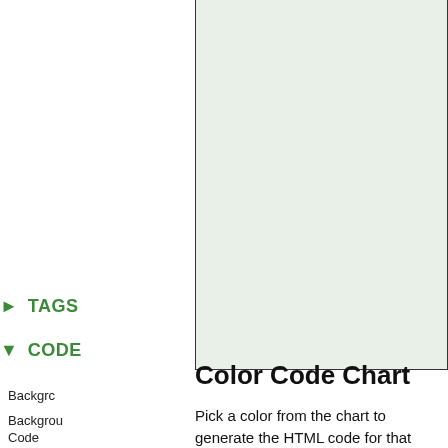[Figure (other): Green/light background panel area representing a color chart preview area]
▶ TAGS
▼ CODE
Backgro
Backgrou
Code
Backgrou
Color
Backgrou
Color Code Chart
Pick a color from the chart to generate the HTML code for that color. Selecting a color will also change the background of the chart so that you can check how it looks against the